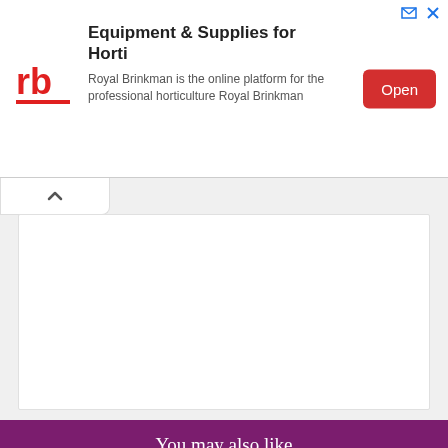[Figure (infographic): Advertisement banner for Royal Brinkman featuring the rb logo, text 'Equipment & Supplies for Horti', subtext 'Royal Brinkman is the online platform for the professional horticulture Royal Brinkman', and a red Open button.]
You may also like
[Figure (photo): Person seated on couch having a video call on a desktop monitor, telepsychiatry setting.]
What is telepsychiatry? Benefits and efficacy
[Figure (photo): Person seated at home, possibly in virtual therapy session.]
Types, uses, and costs of virtual therapy